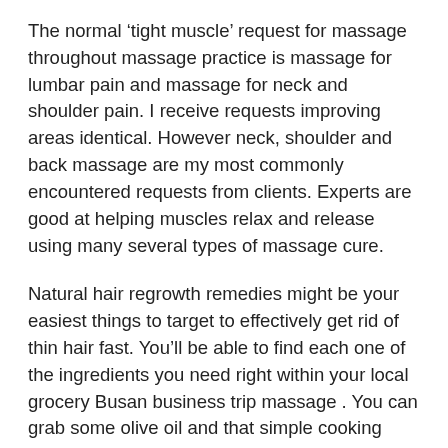The normal ‘tight muscle’ request for massage throughout massage practice is massage for lumbar pain and massage for neck and shoulder pain. I receive requests improving areas identical. However neck, shoulder and back massage are my most commonly encountered requests from clients. Experts are good at helping muscles relax and release using many several types of massage cure.
Natural hair regrowth remedies might be your easiest things to target to effectively get rid of thin hair fast. You’ll be able to find each one of the ingredients you need right within your local grocery Busan business trip massage . You can grab some olive oil and that simple cooking agent as the tool to regrow hair with luxury.
A foot rest that can be raised is a great feature to purchase. It is a much comfortable and might help for you to be excited to sit in your chair for more periods